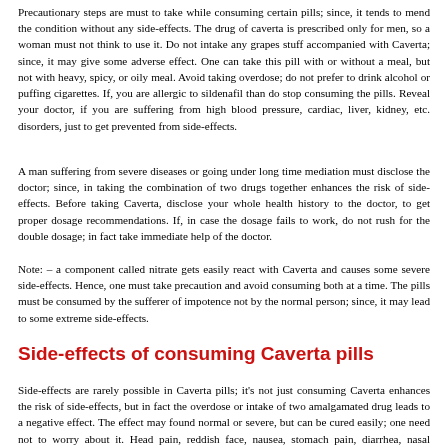Precautionary steps are must to take while consuming certain pills; since, it tends to mend the condition without any side-effects. The drug of caverta is prescribed only for men, so a woman must not think to use it. Do not intake any grapes stuff accompanied with Caverta; since, it may give some adverse effect. One can take this pill with or without a meal, but not with heavy, spicy, or oily meal. Avoid taking overdose; do not prefer to drink alcohol or puffing cigarettes. If, you are allergic to sildenafil than do stop consuming the pills. Reveal your doctor, if you are suffering from high blood pressure, cardiac, liver, kidney, etc. disorders, just to get prevented from side-effects.
A man suffering from severe diseases or going under long time mediation must disclose the doctor; since, in taking the combination of two drugs together enhances the risk of side-effects. Before taking Caverta, disclose your whole health history to the doctor, to get proper dosage recommendations. If, in case the dosage fails to work, do not rush for the double dosage; in fact take immediate help of the doctor.
Note: – a component called nitrate gets easily react with Caverta and causes some severe side-effects. Hence, one must take precaution and avoid consuming both at a time. The pills must be consumed by the sufferer of impotence not by the normal person; since, it may lead to some extreme side-effects.
Side-effects of consuming Caverta pills
Side-effects are rarely possible in Caverta pills; it's not just consuming Caverta enhances the risk of side-effects, but in fact the overdose or intake of two amalgamated drug leads to a negative effect. The effect may found normal or severe, but can be cured easily; one need not to worry about it. Head pain, reddish face, nausea, stomach pain, diarrhea, nasal blockage, backache, dizziness; found a normal complication, which gets turned off in a short period. Whereas